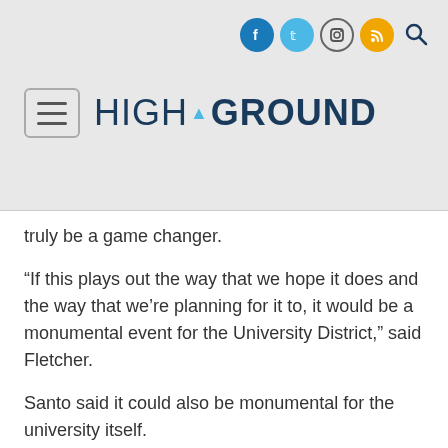HIGH GROUND
truly be a game changer.
“If this plays out the way that we hope it does and the way that we’re planning for it to, it would be a monumental event for the University District,” said Fletcher.
Santo said it could also be monumental for the university itself.
“I think long-term, we’re talking about changes to the way the university operates potentially,” he said. “That means everything from developing